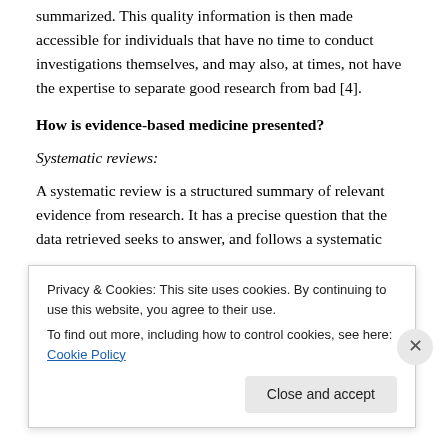summarized. This quality information is then made accessible for individuals that have no time to conduct investigations themselves, and may also, at times, not have the expertise to separate good research from bad [4].
How is evidence-based medicine presented?
Systematic reviews:
A systematic review is a structured summary of relevant evidence from research. It has a precise question that the data retrieved seeks to answer, and follows a systematic
Privacy & Cookies: This site uses cookies. By continuing to use this website, you agree to their use.
To find out more, including how to control cookies, see here: Cookie Policy
Close and accept